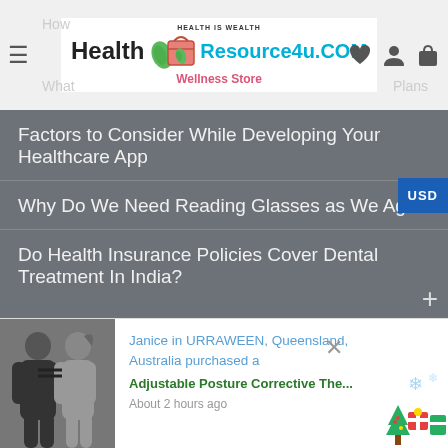[Figure (logo): HealthResource4u.COM Wellness Store logo with leaf and shopping bag icon]
Factors to Consider While Developing Your Healthcare App
Why Do We Need Reading Glasses as We Age
Do Health Insurance Policies Cover Dental Treatment In India?
SIGNUP FOR NEWSLETTER
Enter Your Name
Janice in URRAWEEN, Queensland, Australia purchased a
Adjustable Posture Corrective The...
About 2 hours ago